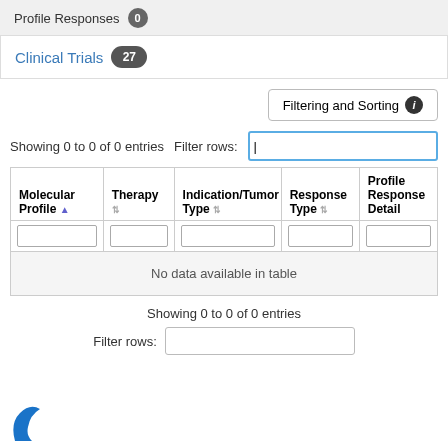Profile Responses 0
Clinical Trials 27
Filtering and Sorting ℹ
Showing 0 to 0 of 0 entries  Filter rows:
| Molecular Profile | Therapy | Indication/Tumor Type | Response Type | Profile Response Detail |
| --- | --- | --- | --- | --- |
| No data available in table |
Showing 0 to 0 of 0 entries
Filter rows:
[Figure (logo): Partial blue logo at bottom left]